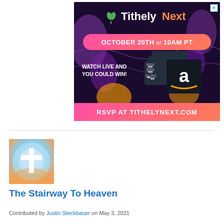[Figure (illustration): Advertisement for Tithely Next event on October 20th at 10AM PT. Dark purple background with abstract shapes. Shows Amazon gift cards ($500, $500, $1000) and text 'Watch Live and You Could Win!' with orange/pink gradient banner at bottom saying 'RSVP at TithelyNext.com']
[Figure (photo): Thumbnail image showing a Christian cross with swirling blue, white and orange celestial background]
The Stairway To Heaven
Contributed by Justin Steckbauer on May 3, 2021